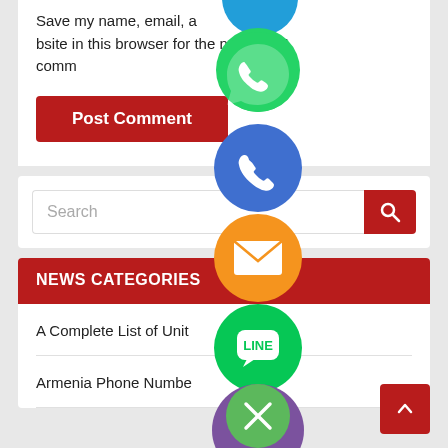Save my name, email, and website in this browser for the next time I comment.
Post Comment
Search
NEWS CATEGORIES
A Complete List of Unit Phone Numbers
Armenia Phone Numbers
[Figure (infographic): Social media share buttons overlay: partially visible blue (Twitter/Telegram) circle at top, WhatsApp green circle, blue phone (Viber call) circle, orange email/envelope circle, green LINE chat circle, purple Viber circle, green close/X circle button]